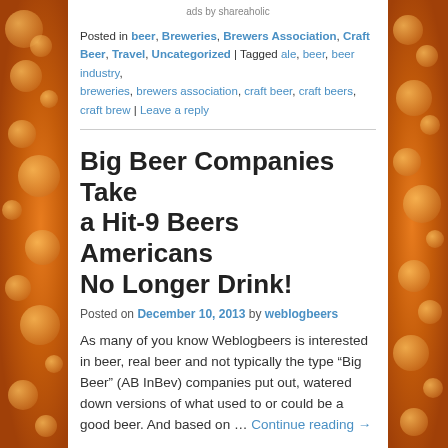ads by shareaholic
Posted in beer, Breweries, Brewers Association, Craft Beer, Travel, Uncategorized | Tagged ale, beer, beer industry, breweries, brewers association, craft beer, craft beers, craft brew | Leave a reply
Big Beer Companies Take a Hit-9 Beers Americans No Longer Drink!
Posted on December 10, 2013 by weblogbeers
As many of you know Weblogbeers is interested in beer, real beer and not typically the type “Big Beer” (AB InBev) companies put out, watered down versions of what used to or could be a good beer. And based on … Continue reading →